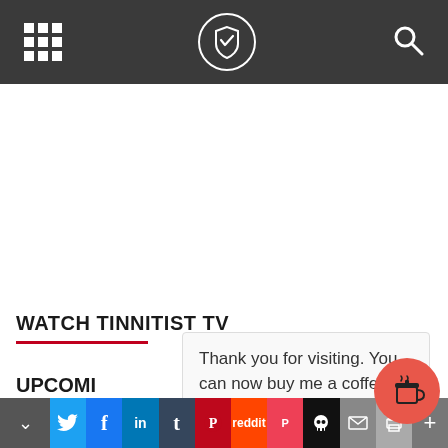Tinnitist TV — navigation bar with grid menu, logo, search
WATCH TINNITIST TV
UPCOMI
Thank you for visiting. You can now buy me a coffee!
[Figure (other): Social sharing toolbar with collapse arrow, Twitter, Facebook, LinkedIn, Tumblr, Pinterest, Reddit, Pocket, skull icon, email, print, and plus buttons]